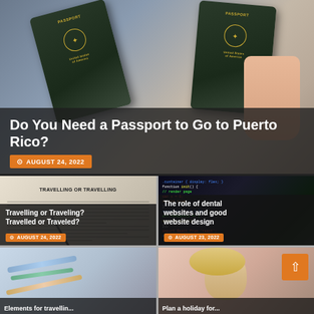[Figure (photo): Hero image showing two US passports being held up, with a dark overlay containing article title and date]
Do You Need a Passport to Go to Puerto Rico?
AUGUST 24, 2022
[Figure (photo): Card image showing a dictionary open to a page with 'TRAVELLING OR TRAVELLING' text, with a pen resting on it]
Travelling or Traveling? Travelled or Traveled?
AUGUST 24, 2022
[Figure (photo): Card image showing code/programming text on a dark screen with colorful syntax highlighting]
The role of dental websites and good website design
AUGUST 23, 2022
[Figure (photo): Partial card image at bottom-left showing medical/dental syringes]
[Figure (photo): Partial card image at bottom-right showing a blonde woman in dental/medical context]